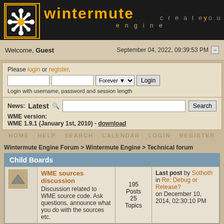[Figure (logo): Wintermute Engine logo and banner with orange text on black background, tagline 'createyourowna']
Welcome, Guest   September 04, 2022, 09:39:53 PM
Please login or register.
Login with username, password and session length
News: Latest   WME version: WME 1.9.1 (January 1st, 2010) - download
HOME   HELP   SEARCH   CALENDAR   LOGIN   REGISTER
Wintermute Engine Forum > Wintermute Engine > Technical forum
Child Boards
|  | Board | Posts/Topics | Last Post |
| --- | --- | --- | --- |
| [icon] | WME sources discussion
Discussion related to WME source code. Ask questions, announce what you do with the sources etc. | 195 Posts
25 Topics | Last post by Sothoth in Re: Debug or Release? on December 10, 2014, 02:30:10 PM |